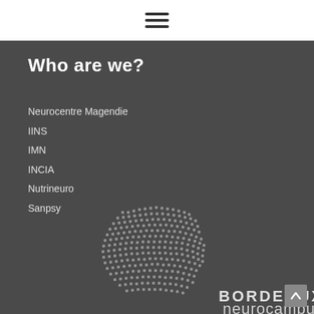[Figure (other): Hamburger menu icon with three horizontal lines]
Who are we?
Neurocentre Magendie
IINS
IMN
INCIA
Nutrineuro
Sanpsy
[Figure (logo): Bordeaux Neurocampus logo with dotted brain graphic and text 'BORDEAUX neurocampus']